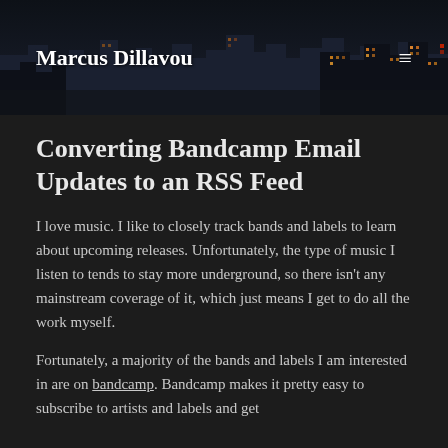Marcus Dillavou
Converting Bandcamp Email Updates to an RSS Feed
I love music. I like to closely track bands and labels to learn about upcoming releases. Unfortunately, the type of music I listen to tends to stay more underground, so there isn't any mainstream coverage of it, which just means I get to do all the work myself.
Fortunately, a majority of the bands and labels I am interested in are on bandcamp. Bandcamp makes it pretty easy to subscribe to artists and labels and get